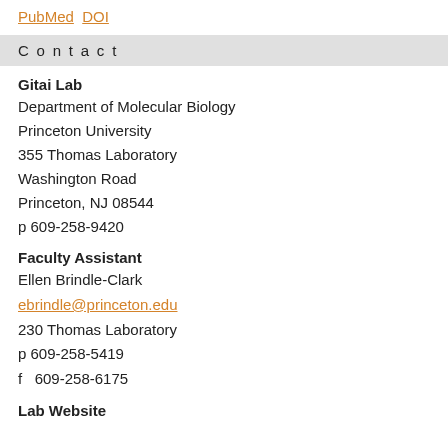PubMed  DOI
Contact
Gitai Lab
Department of Molecular Biology
Princeton University
355 Thomas Laboratory
Washington Road
Princeton, NJ 08544
p 609-258-9420
Faculty Assistant
Ellen Brindle-Clark
ebrindle@princeton.edu
230 Thomas Laboratory
p 609-258-5419
f  609-258-6175
Lab Website